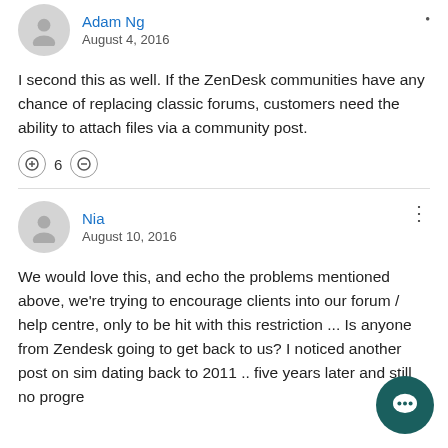Adam Ng
August 4, 2016
I second this as well. If the ZenDesk communities have any chance of replacing classic forums, customers need the ability to attach files via a community post.
Nia
August 10, 2016
We would love this,  and echo the problems mentioned above, we're trying to encourage clients into our forum / help centre,  only to be hit with this restriction ...  Is anyone from Zendesk going to get back to us?  I noticed another post on similar dating back to 2011 .. five years later and still no progre...